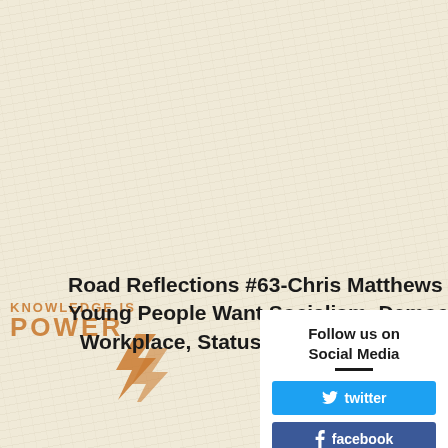[Figure (illustration): Textured cream/off-white paper background filling the page]
[Figure (logo): Knowledge Is Power logo with lightning bolt graphic, orange text reading KNOWLEDGE IS and POWER]
Road Reflections #63-Chris Matthews Young People Want Socialism, Democracy in the Workplace, Status Quo Won't Sav
Follow us on Social Media
twitter
facebook
instagram
youtube